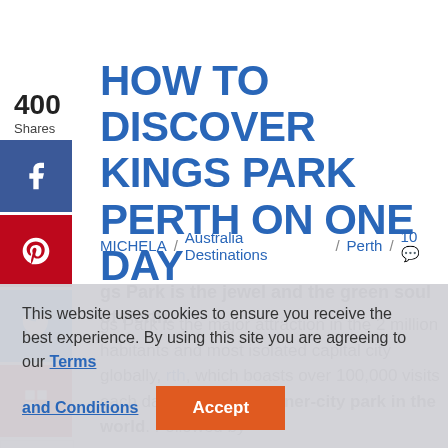HOW TO DISCOVER KINGS PARK PERTH ON ONE DAY
MICHELA / Australia Destinations / Perth / 10
Kings Park is the jewel and the green soul of Perth.
Kings Park is the major attraction in the 2 million inhabitants and most isolated capital city globally, Perth, which boasts over 100,000 visits each day. It is largest inner-city park in the world. Followed by
This website uses cookies to ensure you receive the best experience. By using this site you are agreeing to our Terms and Conditions
Accept